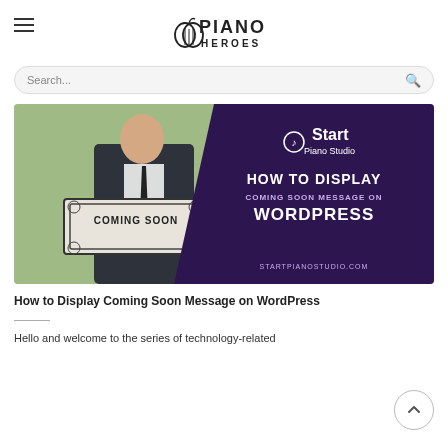PIANO HEROES
Search...
[Figure (screenshot): Blog post hero image showing a man in a suit holding a Coming Soon sign on the left, and on the right a dark purple panel with Start Piano Studio logo and text: HOW TO DISPLAY COMING SOON MESSAGE ON WORDPRESS, STARTPIANOSTUDIO.COM]
How to Display Coming Soon Message on WordPress
Hello and welcome to the series of technology-related